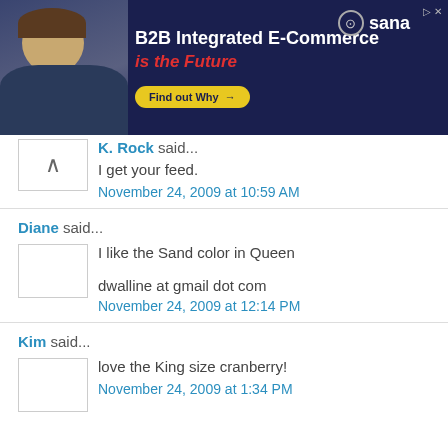[Figure (other): Advertisement banner for Sana Commerce: B2B Integrated E-Commerce is the Future. Dark navy background with person photo, red italic tagline, yellow 'Find out Why' button, and Sana logo.]
K. Rock said...
I get your feed.
November 24, 2009 at 10:59 AM
Diane said...
I like the Sand color in Queen

dwalline at gmail dot com
November 24, 2009 at 12:14 PM
Kim said...
love the King size cranberry!
November 24, 2009 at 1:34 PM